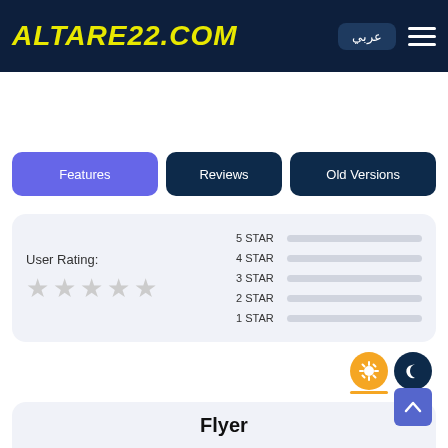[Figure (logo): ALTARE22.COM website logo in yellow italic bold text on dark navy header, with Arabic language button and hamburger menu]
Features
Reviews
Old Versions
User Rating: (5 empty stars) with star rating bars: 5 STAR, 4 STAR, 3 STAR, 2 STAR, 1 STAR — all empty bars
Flyer